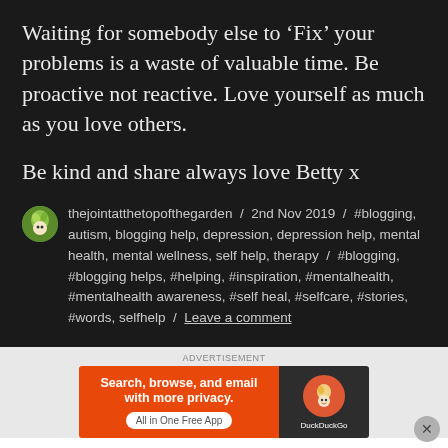Waiting for somebody else to ‘Fix’ your problems is a waste of valuable time. Be proactive not reactive. Love yourself as much as you love others.
Be kind and share always love Betty x
thejointatthetopofthegarden / 2nd Nov 2019 / #blogging, autism, blogging help, depression, depression help, mental health, mental wellness, self help, therapy / #blogging, #blogging helps, #helping, #inspiration, #mentalhealth, #mentalhealth awareness, #self heal, #selfcare, #stories, #words, selfhelp / Leave a comment
[Figure (screenshot): DuckDuckGo advertisement banner: orange left panel with text 'Search, browse, and email with more privacy. All in One Free App' and dark right panel with DuckDuckGo logo]